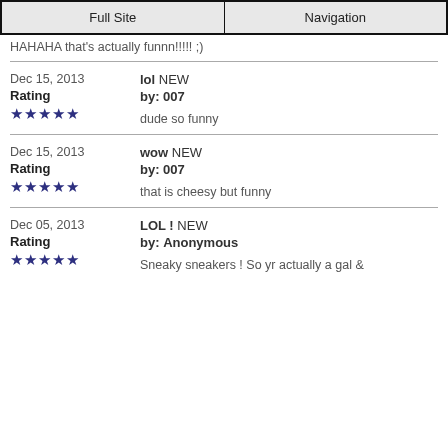Full Site | Navigation
HAHAHA that's actually funnn!!!!! ;)
Dec 15, 2013 | Rating ★★★★★ | lol NEW | by: 007 | dude so funny
Dec 15, 2013 | Rating ★★★★★ | wow NEW | by: 007 | that is cheesy but funny
Dec 05, 2013 | Rating ★★★★★ | LOL ! NEW | by: Anonymous | Sneaky sneakers ! So yr actually a gal &